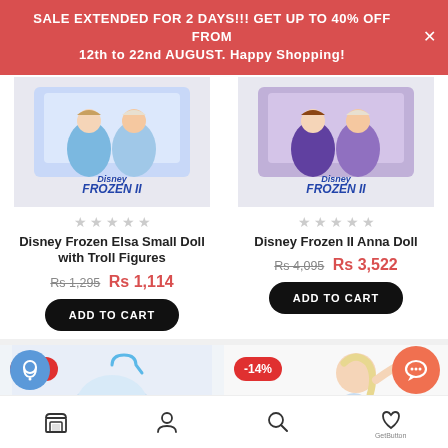SALE EXTENDED FOR 2 DAYS!!! GET UP TO 40% OFF FROM 12th to 22nd AUGUST. Happy Shopping!
[Figure (photo): Disney Frozen II Elsa and Anna small doll set product packaging photo]
[Figure (photo): Disney Frozen II Anna Doll product packaging photo]
Disney Frozen Elsa Small Doll with Troll Figures
Rs 1,295 Rs 1,114
ADD TO CART
Disney Frozen II Anna Doll
Rs 4,095 Rs 3,522
ADD TO CART
[Figure (photo): Partial photo of a Disney Frozen item with -14% discount badge]
[Figure (photo): Partial photo of Disney Elsa doll with -14% discount badge]
GetButton